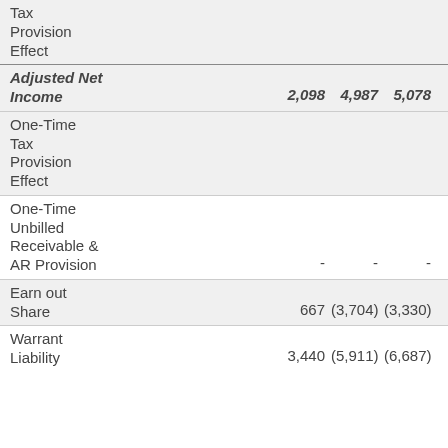|  | Col1 | Col2 | Col3 | Col4 |
| --- | --- | --- | --- | --- |
| Tax Provision Effect |  |  |  |  |
| Adjusted Net Income | 2,098 | 4,987 | 5,078 | 6,070 |
| One-Time Tax Provision Effect |  |  |  |  |
| One-Time Unbilled Receivable & AR Provision | - | - | - | - |
| Earn out Share | 667 | (3,704) | (3,330) | 2,630 |
| Warrant Liability | 3,440 | (5,911) | (6,687) | 12,885 |